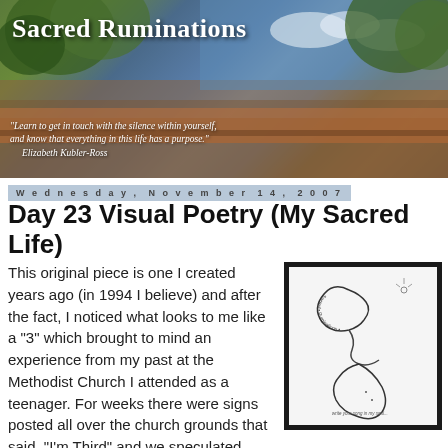[Figure (photo): Banner photo of a Southwest adobe building with trees and blue sky. Title 'Sacred Ruminations' overlaid in white serif font. Quote at bottom: '"Learn to get in touch with the silence within yourself, and know that everything in this life has a purpose." - Elizabeth Kubler-Ross']
Wednesday, November 14, 2007
Day 23 Visual Poetry (My Sacred Life)
This original piece is one I created years ago (in 1994 I believe) and after the fact, I noticed what looks to me like a "3" which brought to mind an experience from my past at the Methodist Church I attended as a teenager. For weeks there were signs posted all over the church grounds that said, "I'm Third" and we speculated
[Figure (illustration): Framed line drawing artwork showing abstract calligraphic figures forming a shape resembling the number 3, with handwritten text incorporated into the curves of the image.]